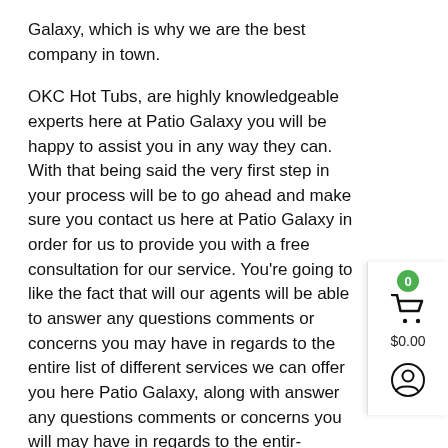Galaxy, which is why we are the best company in town.
OKC Hot Tubs, are highly knowledgeable experts here at Patio Galaxy you will be happy to assist you in any way they can. With that being said the very first step in your process will be to go ahead and make sure you contact us here at Patio Galaxy in order for us to provide you with a free consultation for our service. You're going to like the fact that will our agents will be able to answer any questions comments or concerns you may have in regards to the entire list of different services we can offer you here Patio Galaxy, along with answer any questions comments or concerns you will may have in regards to the entire process of how we do business here Patio Galaxy. It will be able to answer any questions you may have in regards to how tubs in general.
OKC Hot Tubs, the final step in the process before we actually provide you the service here Patio Galaxy will be to go heading go over the entire pricing for the service for about to provide. You're going to like the fact that we are very upfront transparent about the pricing and fees, so you have nothing to worry about regards to hidden fees or hidden charge with us here Patio